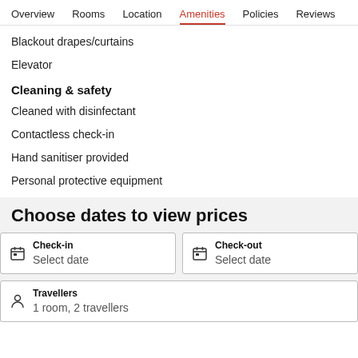Overview  Rooms  Location  Amenities  Policies  Reviews
Blackout drapes/curtains
Elevator
Cleaning & safety
Cleaned with disinfectant
Contactless check-in
Hand sanitiser provided
Personal protective equipment
Choose dates to view prices
Check-in
Select date
Check-out
Select date
Travellers
1 room, 2 travellers